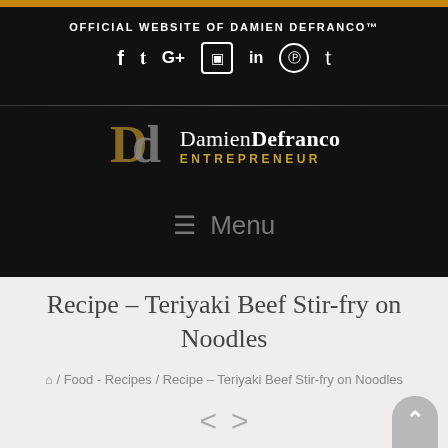OFFICIAL WEBSITE OF DAMIEN DEFRANCO™
[Figure (logo): Damien Defranco Entrepreneur logo with DD monogram in gold and white on black background, with social media icons (f, t, G+, Instagram, in, Pinterest, Tumblr)]
Recipe – Teriyaki Beef Stir-fry on Noodles
🏠 / Food - Recipes / Recipe – Teriyaki Beef Stir-fry on Noodles